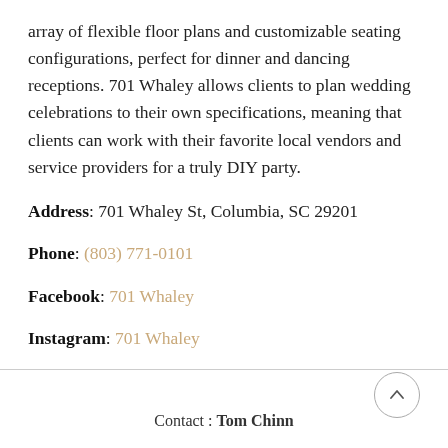array of flexible floor plans and customizable seating configurations, perfect for dinner and dancing receptions. 701 Whaley allows clients to plan wedding celebrations to their own specifications, meaning that clients can work with their favorite local vendors and service providers for a truly DIY party.
Address: 701 Whaley St, Columbia, SC 29201
Phone: (803) 771-0101
Facebook: 701 Whaley
Instagram: 701 Whaley
Contact : Tom Chinn